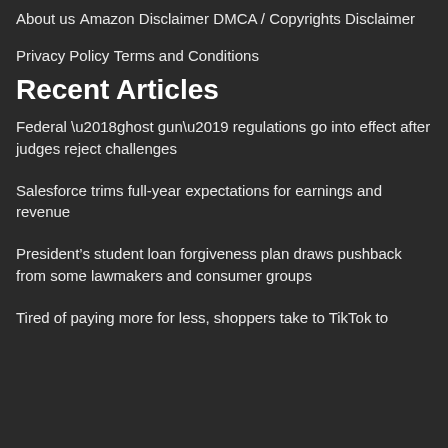About us
Amazon Disclaimer
DMCA / Copyrights Disclaimer
Privacy Policy
Terms and Conditions
Recent Articles
Federal ‘ghost gun’ regulations go into effect after judges reject challenges
Salesforce trims full-year expectations for earnings and revenue
President’s student loan forgiveness plan draws pushback from some lawmakers and consumer groups
Tired of paying more for less, shoppers take to TikTok to